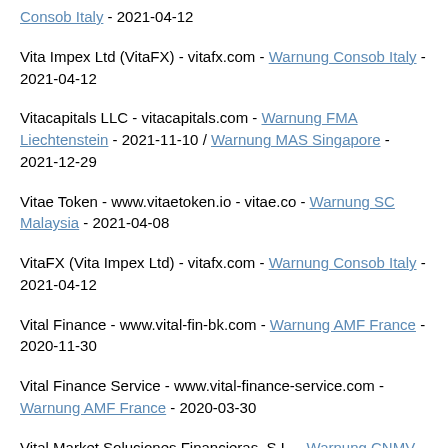Consob Italy - 2021-04-12
Vita Impex Ltd (VitaFX) - vitafx.com - Warnung Consob Italy - 2021-04-12
Vitacapitals LLC - vitacapitals.com - Warnung FMA Liechtenstein - 2021-11-10 / Warnung MAS Singapore - 2021-12-29
Vitae Token - www.vitaetoken.io - vitae.co - Warnung SC Malaysia - 2021-04-08
VitaFX (Vita Impex Ltd) - vitafx.com - Warnung Consob Italy - 2021-04-12
Vital Finance - www.vital-fin-bk.com - Warnung AMF France - 2020-11-30
Vital Finance Service - www.vital-finance-service.com - Warnung AMF France - 2020-03-30
Vital Market Soluciones Financieras, S.L. - Warnung CNMV Spain - 2015-06-08
Vital Markets Solutions Limited (Vital Market) - vitalmarkets.com - Warnung CNMV Spain - 2015-06-08
Vital Resources Ltd (Coinibank) - www.coinibank.co - Warnung